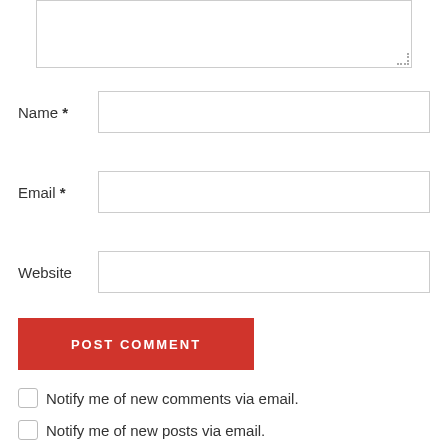[Figure (screenshot): Textarea input field (top portion visible, partially cropped)]
Name *
[Figure (screenshot): Name text input field]
Email *
[Figure (screenshot): Email text input field]
Website
[Figure (screenshot): Website text input field]
[Figure (screenshot): POST COMMENT button in red]
Notify me of new comments via email.
Notify me of new posts via email.